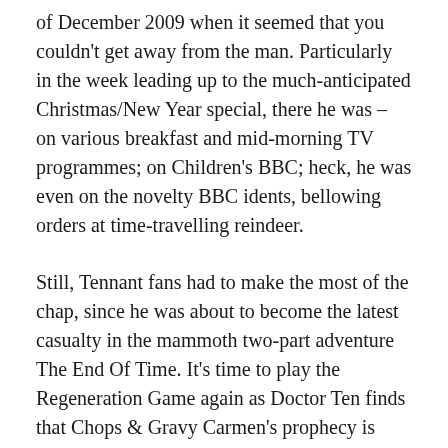of December 2009 when it seemed that you couldn't get away from the man. Particularly in the week leading up to the much-anticipated Christmas/New Year special, there he was – on various breakfast and mid-morning TV programmes; on Children's BBC; heck, he was even on the novelty BBC idents, bellowing orders at time-travelling reindeer.
Still, Tennant fans had to make the most of the chap, since he was about to become the latest casualty in the mammoth two-part adventure The End Of Time. It's time to play the Regeneration Game again as Doctor Ten finds that Chops & Gravy Carmen's prophecy is about to come devastatingly true.
The End Of Time has a lot of promise to live up to. Not only is it the last David Tennant adventure, it's also the point at which beloved showrunner Russell T Davies signs off. After a...